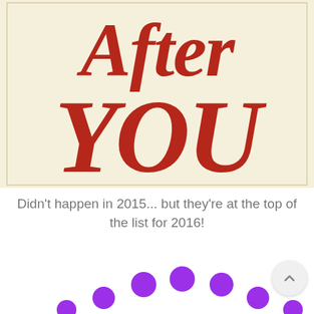[Figure (illustration): Book cover or decorative title image with large ornate red cursive/serif text reading 'After YOU' on a cream/ivory background]
Didn't happen in 2015... but they're at the top of the list for 2016!
[Figure (illustration): Purple dots arranged in an arc/wave pattern, partially visible at the bottom of the page, suggesting a loading spinner or decorative element]